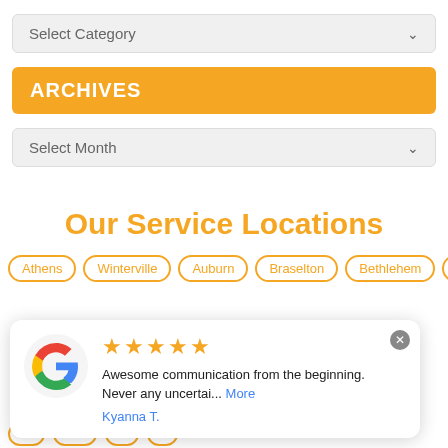[Figure (screenshot): Select Category dropdown box with grey background and chevron]
ARCHIVES
[Figure (screenshot): Select Month dropdown box with grey background and chevron]
Our Service Locations
Athens
Winterville
Auburn
Braselton
Bethlehem
Carl
[Figure (screenshot): Google review popup showing 5 stars, review text 'Awesome communication from the beginning. Never any certai... More' by Kyanna T., with Google G logo]